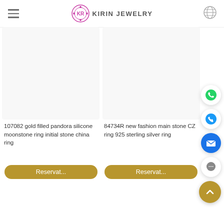KIRIN JEWELRY
[Figure (other): Product image placeholder for 107082 gold filled pandora silicone moonstone ring initial stone china ring]
107082 gold filled pandora silicone moonstone ring initial stone china ring
Reservat...
[Figure (other): Product image placeholder for 84734R new fashion main stone CZ ring 925 sterling silver ring]
84734R new fashion main stone CZ ring 925 sterling silver ring
Reservat...